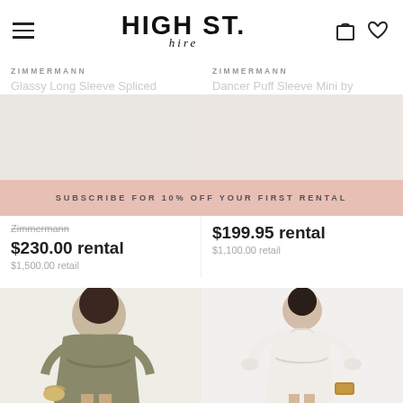HIGH ST. hire — navigation header with hamburger menu, logo, bag and wishlist icons
[Figure (screenshot): Partially visible product image top-left: Zimmermann Glassy Long Sleeve Spliced dress]
[Figure (screenshot): Partially visible product image top-right: Zimmermann Dancer Puff Sleeve Mini]
ZIMMERMANN
Glassy Long Sleeve Spliced
ZIMMERMANN
Dancer Puff Sleeve Mini by
SUBSCRIBE FOR 10% OFF YOUR FIRST RENTAL
Zimmermann
$230.00 rental
$1,500.00 retail
$199.95 rental
$1,100.00 retail
[Figure (photo): Woman in olive/khaki satin wrap mini dress with long balloon sleeves, belted waist, carrying a straw bag]
[Figure (photo): Woman in white mini dress with high neck and puff long sleeves, belted waist, carrying a tan/wood clutch]